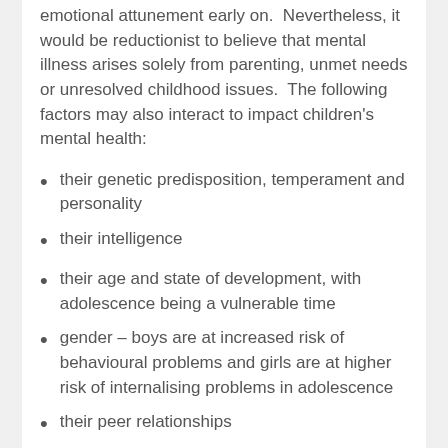emotional attunement early on. Nevertheless, it would be reductionist to believe that mental illness arises solely from parenting, unmet needs or unresolved childhood issues. The following factors may also interact to impact children's mental health:
their genetic predisposition, temperament and personality
their intelligence
their age and state of development, with adolescence being a vulnerable time
gender – boys are at increased risk of behavioural problems and girls are at higher risk of internalising problems in adolescence
their peer relationships
their ability to regulate their emotions
life events, such as parental separation, a pandemic, changing schools and the birth of